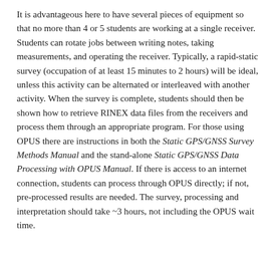It is advantageous here to have several pieces of equipment so that no more than 4 or 5 students are working at a single receiver. Students can rotate jobs between writing notes, taking measurements, and operating the receiver. Typically, a rapid-static survey (occupation of at least 15 minutes to 2 hours) will be ideal, unless this activity can be alternated or interleaved with another activity. When the survey is complete, students should then be shown how to retrieve RINEX data files from the receivers and process them through an appropriate program. For those using OPUS there are instructions in both the Static GPS/GNSS Survey Methods Manual and the stand-alone Static GPS/GNSS Data Processing with OPUS Manual. If there is access to an internet connection, students can process through OPUS directly; if not, pre-processed results are needed. The survey, processing and interpretation should take ~3 hours, not including the OPUS wait time.